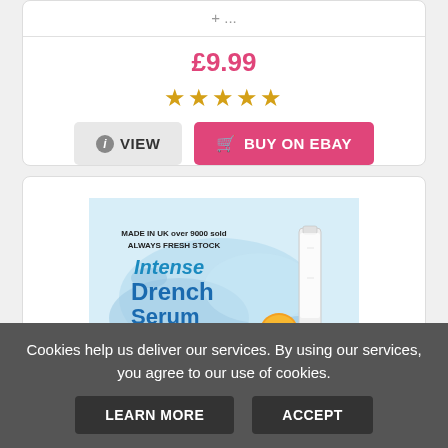+ ...
£9.99
[Figure (other): Five gold/yellow star rating icons]
[Figure (other): VIEW button with info icon]
[Figure (other): BUY ON EBAY button with cart icon]
[Figure (photo): Product image: Intense Drench Serum with text 'MADE IN UK over 9000 sold ALWAYS FRESH STOCK', 'With Matrisyl 3000, 3X Hyaluronic Acid, Vitamin C, 3ml, Scientifically proven to work']
Cookies help us deliver our services. By using our services, you agree to our use of cookies.
LEARN MORE
ACCEPT